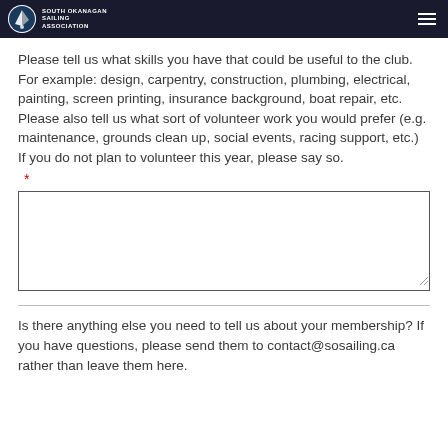South Okanagan Sailing Association
Please tell us what skills you have that could be useful to the club. For example: design, carpentry, construction, plumbing, electrical, painting, screen printing, insurance background, boat repair, etc.
Please also tell us what sort of volunteer work you would prefer (e.g. maintenance, grounds clean up, social events, racing support, etc.)
If you do not plan to volunteer this year, please say so.
*
[Figure (other): Empty text area input box for volunteer skills and preferences]
Is there anything else you need to tell us about your membership? If you have questions, please send them to contact@sosailing.ca rather than leave them here.